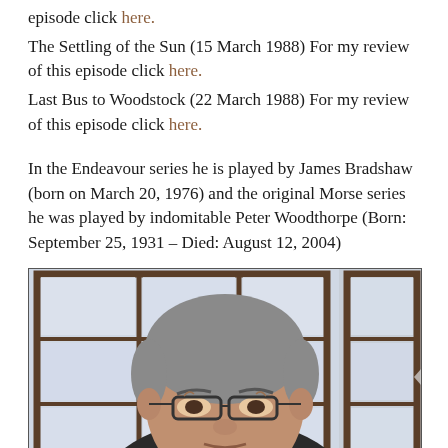episode click here. The Settling of the Sun (15 March 1988) For my review of this episode click here. Last Bus to Woodstock (22 March 1988) For my review of this episode click here.
In the Endeavour series he is played by James Bradshaw (born on March 20, 1976) and the original Morse series he was played by indomitable Peter Woodthorpe (Born: September 25, 1931 – Died: August 12, 2004)
[Figure (photo): A middle-aged man with grey hair wearing glasses, photographed against a background of multi-pane windows with frosted/textured glass]